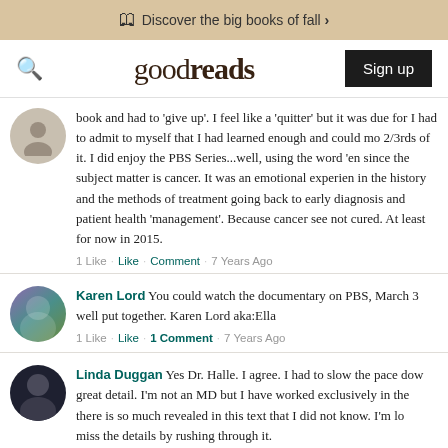Discover the big books of fall >
goodreads  Sign up
book and had to 'give up'. I feel like a 'quitter' but it was due for I had to admit to myself that I had learned enough and could mo 2/3rds of it. I did enjoy the PBS Series...well, using the word 'en since the subject matter is cancer. It was an emotional experien in the history and the methods of treatment going back to early diagnosis and patient health 'management'. Because cancer see not cured. At least for now in 2015.
1 Like · Like · Comment · 7 Years Ago
Karen Lord You could watch the documentary on PBS, March 3 well put together. Karen Lord aka:Ella
1 Like · Like · 1 Comment · 7 Years Ago
Linda Duggan Yes Dr. Halle. I agree. I had to slow the pace dow great detail. I'm not an MD but I have worked exclusively in the there is so much revealed in this text that I did not know. I'm lo miss the details by rushing through it.